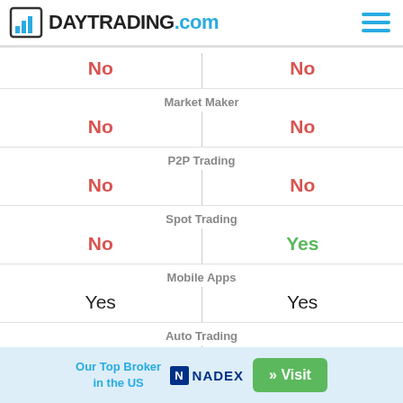DAYTRADING.com
| Broker 1 | Category | Broker 2 |
| --- | --- | --- |
| No | (partial) | No |
| No | Market Maker | No |
| No | P2P Trading | No |
| No | Spot Trading | Yes |
| Yes | Mobile Apps | Yes |
| Yes (EAs) | Auto Trading | Yes - through APIs |
Our Top Broker in the US  NADEX  » Visit